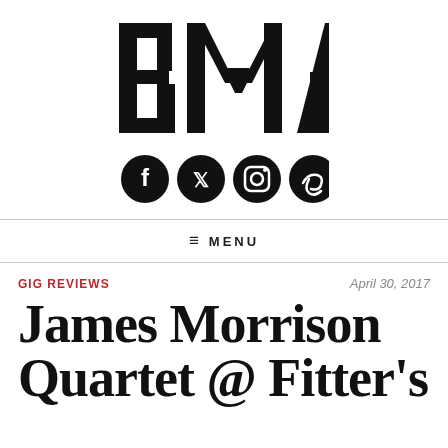[Figure (logo): BMA logo in large bold italic black letters]
[Figure (infographic): Four social media icons: Facebook, Twitter, Instagram, and a link/paperclip icon, all in black circles]
≡ MENU
GIG REVIEWS
April 30, 2017
James Morrison Quartet @ Fitter's